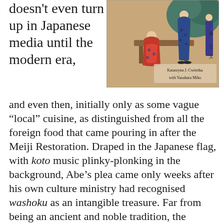doesn't even turn up in Japanese media until the modern era,
[Figure (illustration): Japanese woodblock print style illustration showing figures in traditional kimono clothing near a table. Text overlay reads: Katarzyna J. Cwiertka with Yasuhara Miho]
and even then, initially only as some vague “local” cuisine, as distinguished from all the foreign food that came pouring in after the Meiji Restoration. Draped in the Japanese flag, with koto music plinky-plonking in the background, Abe’s plea came only weeks after his own culture ministry had recognised washoku as an intangible treasure. Far from being an ancient and noble tradition, the